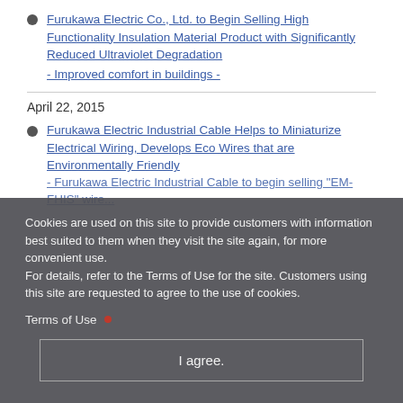Furukawa Electric Co., Ltd. to Begin Selling High Functionality Insulation Material Product with Significantly Reduced Ultraviolet Degradation
- Improved comfort in buildings -
April 22, 2015
Furukawa Electric Industrial Cable Helps to Miniaturize Electrical Wiring, Develops Eco Wires that are Environmentally Friendly
- Furukawa Electric Industrial Cable to begin selling "EM-FHIS" wire...
Cookies are used on this site to provide customers with information best suited to them when they visit the site again, for more convenient use.
For details, refer to the Terms of Use for the site. Customers using this site are requested to agree to the use of cookies.
Terms of Use
I agree.